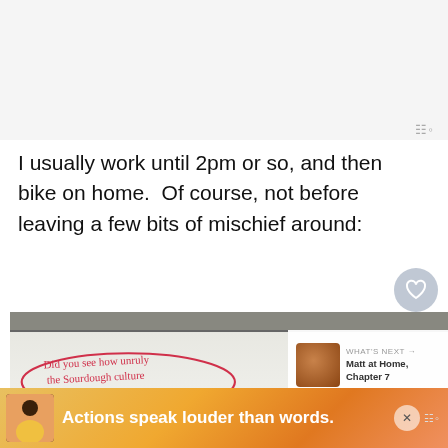[Figure (screenshot): Top gray/white area, likely a blog or article header area above the text]
I usually work until 2pm or so, and then bike on home.  Of course, not before leaving a few bits of mischief around:
[Figure (photo): Photo of a whiteboard with handwritten red text inside a drawn oval bubble: 'Did you see how unruly the Sourdough culture behaving?' with a 'WHAT'S NEXT' panel showing 'Matt at Home, Chapter 7']
[Figure (screenshot): Bottom advertisement bar with orange/yellow gradient background showing a person avatar and text 'Actions speak louder than words.' with a close button (X) and wordmark]